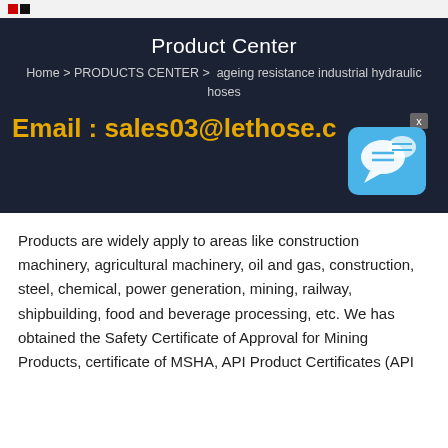Product Center
Home > PRODUCTS CENTER >  ageing resistance industrial hydraulic hoses
Email : sales03@lethose.c
[Figure (illustration): Blue chat/messenger icon with speech bubbles, with a close button (x) in the top right corner]
Products are widely apply to areas like construction machinery, agricultural machinery, oil and gas, construction, steel, chemical, power generation, mining, railway, shipbuilding, food and beverage processing, etc. We has obtained the Safety Certificate of Approval for Mining Products, certificate of MSHA, API Product Certificates (API